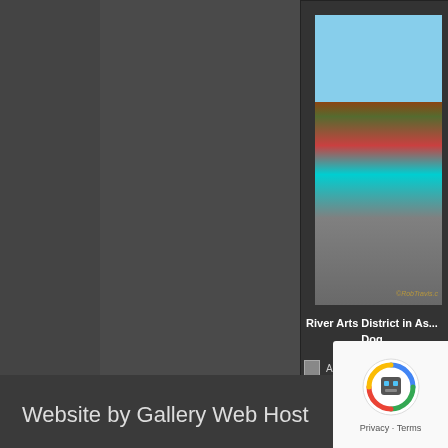[Figure (photo): Photograph of colorful murals and buildings in the River Arts District, with trees and blue sky in the background. Watermark reads ©RobTravis.c...]
River Arts District in As... Dog
Add Photo To...
Views: 1175
[Figure (logo): Gallery 2 badge/logo with face icon on left and blue label reading GALLERY 2]
Website by Gallery Web Host
[Figure (other): Google reCAPTCHA badge showing robot icon with Privacy and Terms links]